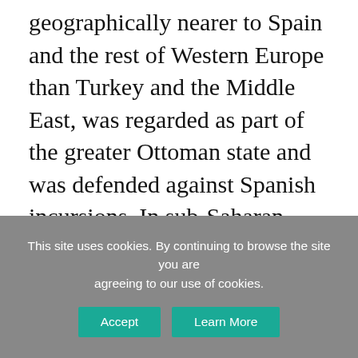geographically nearer to Spain and the rest of Western Europe than Turkey and the Middle East, was regarded as part of the greater Ottoman state and was defended against Spanish incursions. In sub-Saharan Africa, Ottoman influence was minimal and to some extent did not exist. When the Turkish Republic was created in 1923, Ankara adopted a foreign policy based on Westernization and secularism, which reflected the Kemalist perception of international relations. The building blocks of this policy were secularism and modernization by looking to the West for direction.
This site uses cookies. By continuing to browse the site you are agreeing to our use of cookies.